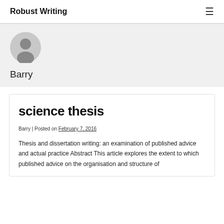Robust Writing
[Figure (illustration): Generic user avatar icon — grey silhouette of a person on a circular grey background]
Barry
science thesis
Barry | Posted on February 7, 2016
Thesis and dissertation writing: an examination of published advice and actual practice Abstract This article explores the extent to which published advice on the organisation and structure of